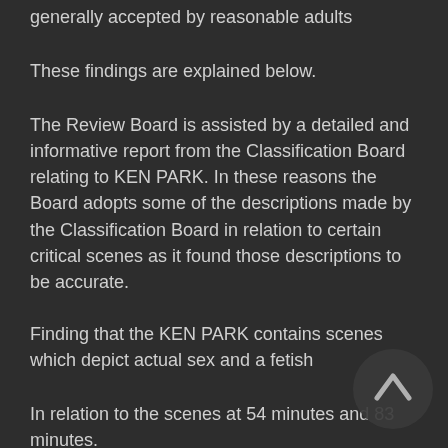generally accepted by reasonable adults
These findings are explained below.
The Review Board is assisted by a detailed and informative report from the Classification Board relating to KEN PARK. In these reasons the Board adopts some of the descriptions made by the Classification Board in relation to certain critical scenes as it found those descriptions to be accurate.
Finding that the KEN PARK contains scenes which depict actual sex and a fetish
In relation to the scenes at 54 minutes and 83 minutes.